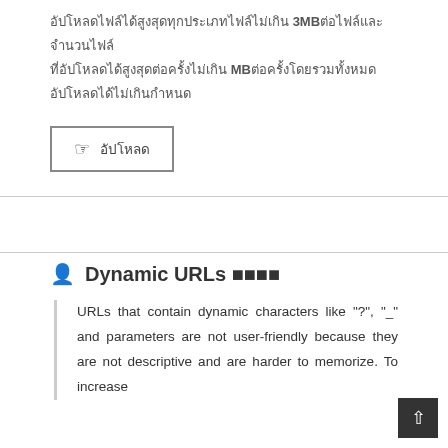อัปโหลดไฟล์ได้สูงสุด 3MB ต่อไฟล์ และอัปโหลดได้สูงสุด MB ต่อครั้ง
[Figure (other): Button with pointer/hand icon and Thai text label]
Dynamic URLs 🔒🔒🔒🔒
URLs that contain dynamic characters like "?", "_" and parameters are not user-friendly because they are not descriptive and are harder to memorize. To increase